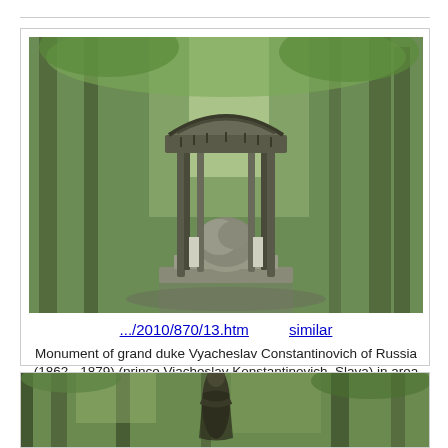[Figure (photo): Ornate iron gazebo or monument structure in a green forest park setting, Pavlovsk Park, Russia]
.../2010/870/13.htm    similar
Monument of grand duke Vyacheslav Constantinovich of Russia (1862 - 1879) (prince Viacheslav Konstantinovich, Slava) in area of Twelve Paths (Dvenadtsat Dorozhek) in Old Sylvia in Pavlovsk Park, south from Saint Petersburg, Russia, June 23, 2010.
[Figure (photo): Bronze statue of a standing female figure in a forest with tall trees, Pavlovsk Park, Russia]